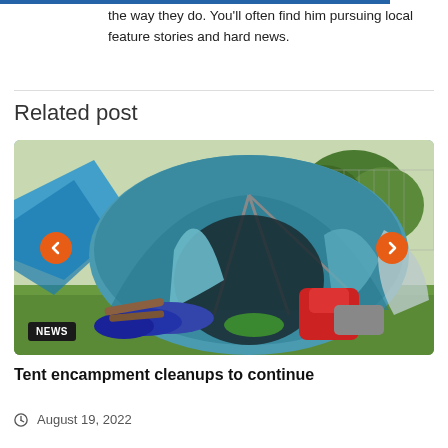the way they do. You'll often find him pursuing local feature stories and hard news.
Related post
[Figure (photo): A blue dome tent with an open flap revealing camping gear including a red backpack, sleeping bags, and other supplies on grass. A chain-link fence and trees are visible in the background. Orange navigation arrows on left and right sides. A black 'NEWS' badge in the bottom left corner.]
Tent encampment cleanups to continue
August 19, 2022